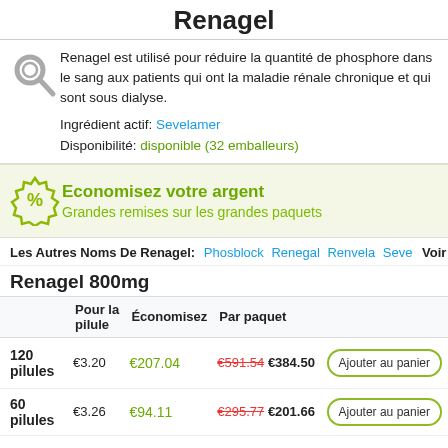Renagel
Renagel est utilisé pour réduire la quantité de phosphore dans le sang aux patients qui ont la maladie rénale chronique et qui sont sous dialyse.
Ingrédient actif: Sevelamer
Disponibilité: disponible (32 emballeurs)
Economisez votre argent
Grandes remises sur les grandes paquets
Les Autres Noms De Renagel: Phosblock Renegal Renvela Seve Voir tout
Renagel 800mg
|  | Pour la pilule | Économisez | Par paquet |  |
| --- | --- | --- | --- | --- |
| 120 pilules | €3.20 | €207.04 | €591.54 €384.50 | Ajouter au panier |
| 60 pilules | €3.26 | €94.11 | €295.77 €201.66 | Ajouter au panier |